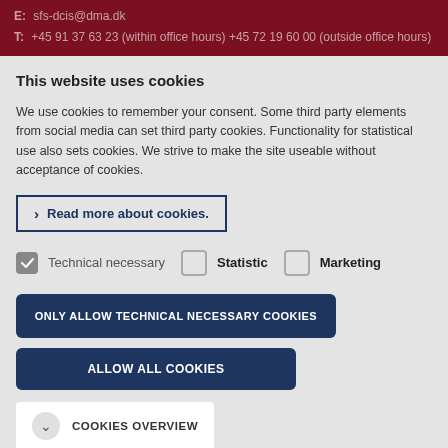E: sfs-dcis@dma.dk
T: +45 91 37 63 23 (within office hours) +45 72 19 60 00 (outside office hours)
This website uses cookies
We use cookies to remember your consent. Some third party elements from social media can set third party cookies. Functionality for statistical use also sets cookies. We strive to make the site useable without acceptance of cookies.
› Read more about cookies.
Technical necessary   Statistic   Marketing
ONLY ALLOW TECHNICAL NECESSARY COOKIES
ALLOW ALL COOKIES
COOKIES OVERVIEW